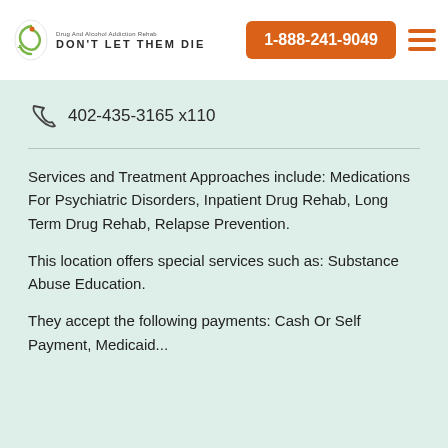[Figure (logo): Don't Let Them Die drug and alcohol addiction rehab logo with circular icon]
1-888-241-9049
402-435-3165 x110
Services and Treatment Approaches include: Medications For Psychiatric Disorders, Inpatient Drug Rehab, Long Term Drug Rehab, Relapse Prevention.
This location offers special services such as: Substance Abuse Education.
They accept the following payments: Cash Or Self Payment, Medicaid...